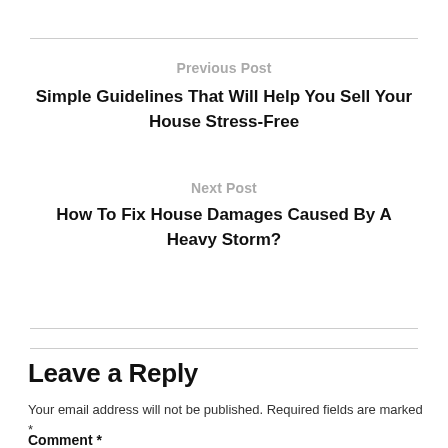Previous Post
Simple Guidelines That Will Help You Sell Your House Stress-Free
Next Post
How To Fix House Damages Caused By A Heavy Storm?
Leave a Reply
Your email address will not be published. Required fields are marked *
Comment *